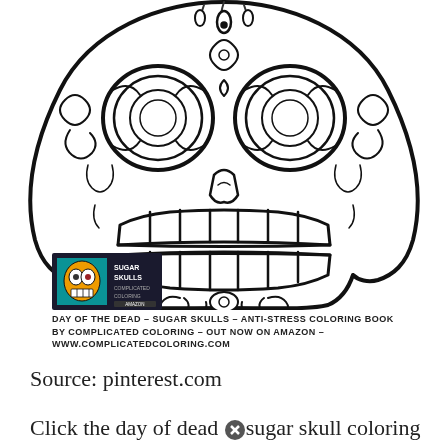[Figure (illustration): A detailed black and white sugar skull (Day of the Dead / Dia de los Muertos) coloring page illustration, with intricate mandala-style patterns, floral and scroll ornaments, large eye sockets with decorative circles, drop motifs on the forehead, and a wide grinning mouth with rectangular teeth. In the lower left area of the illustration is a small book cover thumbnail showing a colorful sugar skull with the text 'SUGAR SKULLS' on a dark background.]
DAY OF THE DEAD - SUGAR SKULLS - ANTI-STRESS COLORING BOOK
BY COMPLICATED COLORING - OUT NOW ON AMAZON - WWW.COMPLICATEDCOLORING.COM
Source: pinterest.com
Click the day of dead sugar skull coloring